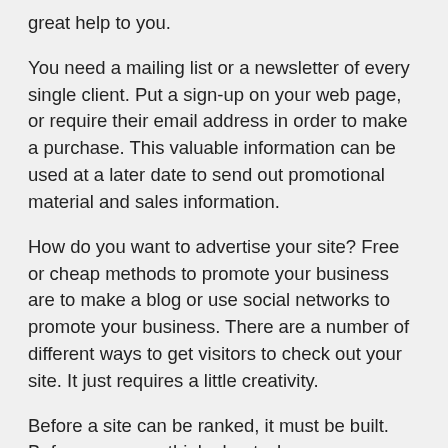great help to you.
You need a mailing list or a newsletter of every single client. Put a sign-up on your web page, or require their email address in order to make a purchase. This valuable information can be used at a later date to send out promotional material and sales information.
How do you want to advertise your site? Free or cheap methods to promote your business are to make a blog or use social networks to promote your business. There are a number of different ways to get visitors to check out your site. It just requires a little creativity.
Before a site can be ranked, it must be built. Before you even think about where your website stands in the rankings, you should be thinking about its quality. This needs to be the first thing anyone does in online business. If your website looks, good you will not have to change it as much over time.
Internet marketing is all about finding a problem and trying to fix it. If you know how to start your business you will be better